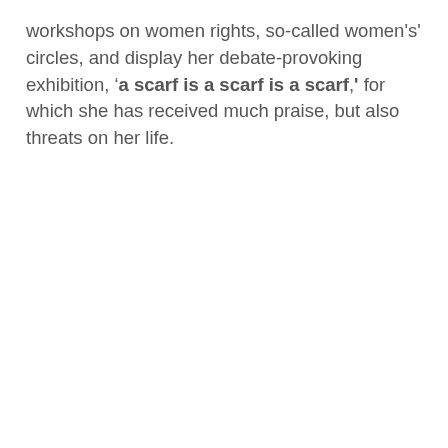workshops on women rights, so-called women's' circles, and display her debate-provoking exhibition, 'a scarf is a scarf is a scarf', for which she has received much praise, but also threats on her life.